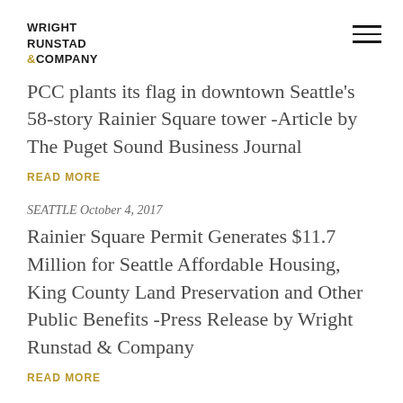WRIGHT RUNSTAD & COMPANY
PCC plants its flag in downtown Seattle's 58-story Rainier Square tower -Article by The Puget Sound Business Journal
READ MORE
SEATTLE October 4, 2017
Rainier Square Permit Generates $11.7 Million for Seattle Affordable Housing, King County Land Preservation and Other Public Benefits -Press Release by Wright Runstad & Company
READ MORE